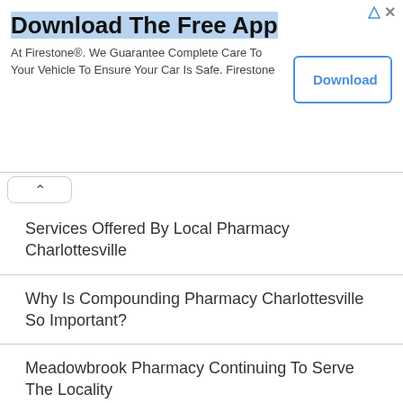[Figure (screenshot): Advertisement banner for Firestone app download with title 'Download The Free App', body text, and a Download button]
Download The Free App
At Firestone®. We Guarantee Complete Care To Your Vehicle To Ensure Your Car Is Safe. Firestone
Services Offered By Local Pharmacy Charlottesville
Why Is Compounding Pharmacy Charlottesville So Important?
Meadowbrook Pharmacy Continuing To Serve The Locality
Depend On Local Drug Stores For Specific Vaccines
Nutritional Supplements Or Flu Shots Charlottesville Available Near Home